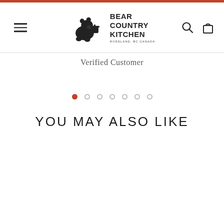[Figure (logo): Bear Country Kitchen logo with bear silhouette and text reading BEAR COUNTRY KITCHEN ROSSLAND, BC CANADA]
Verified Customer
[Figure (other): Carousel pagination dots: 7 dots, first one active (orange/red), rest gray]
YOU MAY ALSO LIKE